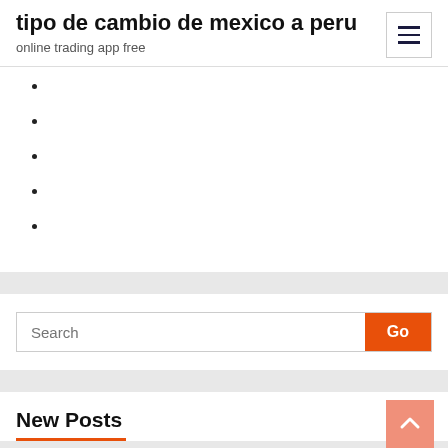tipo de cambio de mexico a peru
online trading app free
Search
New Posts